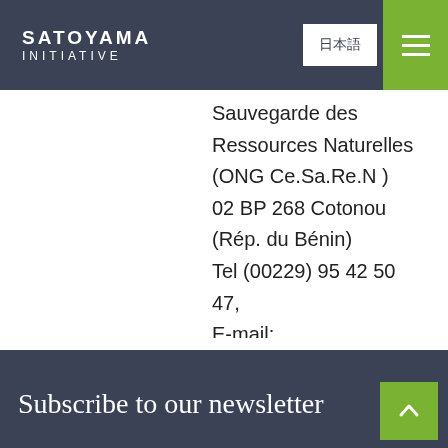SATOYAMA INITIATIVE | 日本語 | ☰
Sauvegarde des Ressources Naturelles (ONG Ce.Sa.Re.N )
02 BP 268 Cotonou (Rép. du Bénin)
Tel (00229) 95 42 50 47,
E-mail: cesarenong@yahoo.fr or bmbc1957@gmail.com or lokossouo@yahoo.fr
Subscribe to our newsletter